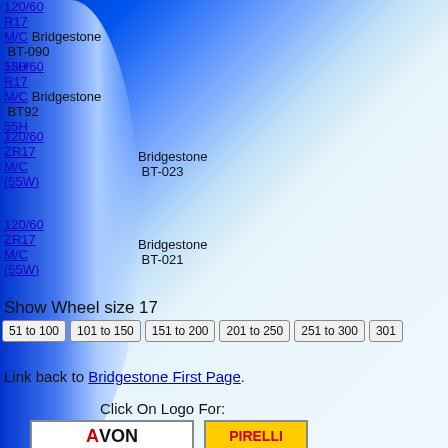120/60 R17 M/C 55H  Bridgestone  BT-090
120/60 R17 M/C 55H  Bridgestone  BT92
120/60 ZR17 M/C (55W)  Bridgestone  BT-023
120/60 ZR17 M/C (55W)  Bridgestone  BT-021
Show Wheel size 17
51 to 100  101 to 150  151 to 200  201 to 250  251 to 300  301
Link back to Bridgestone First Page.
Click On Logo For: